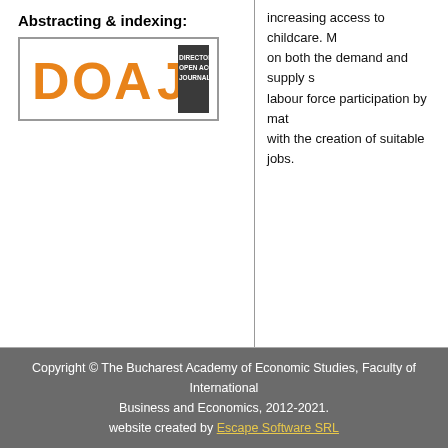Abstracting & indexing:
[Figure (logo): DOAJ - Directory of Open Access Journals logo]
increasing access to childcare. M... on both the demand and supply s... labour force participation by mate... with the creation of suitable jobs.
Copyright © The Bucharest Academy of Economic Studies, Faculty of International Business and Economics, 2012-2021. website created by Escape Software SRL